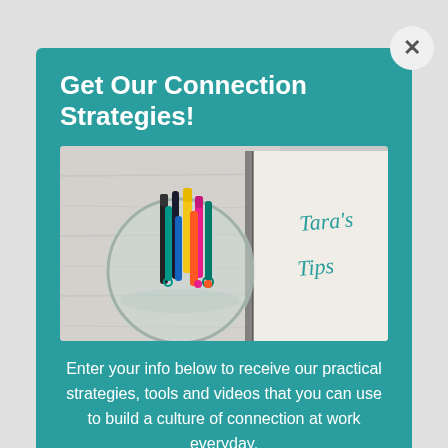Get Our Connection Strategies!
[Figure (photo): Photo of colorful markers/pens in a glass jar next to an open notebook with 'Tara's Tips' written in handwriting on the cover, on a wooden surface background.]
Enter your info below to receive our practical strategies, tools and videos that you can use to build a culture of connection at work everyday.
Type your name